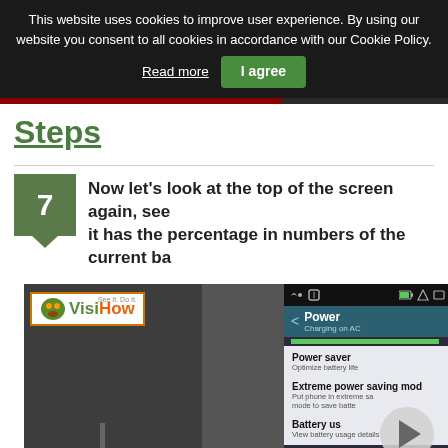This website uses cookies to improve user experience. By using our website you consent to all cookies in accordance with our Cookie Policy. Read more  I agree
Steps
Now let's look at the top of the screen again, see it has the percentage in numbers of the current ba...
[Figure (screenshot): Screenshot showing a VisiHow tutorial page with a phone screen displaying Power settings menu including Power saver, Extreme power saving mode, and Battery usage options. A video play button overlay is visible.]